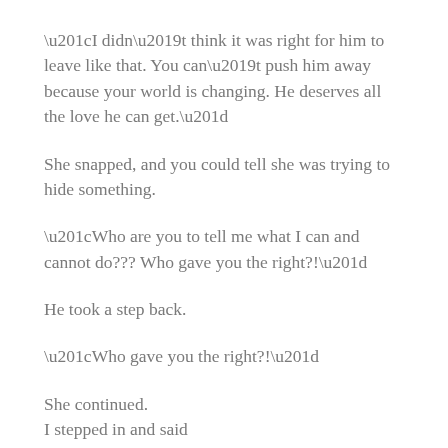“I didn’t think it was right for him to leave like that. You can’t push him away because your world is changing. He deserves all the love he can get.”
She snapped, and you could tell she was trying to hide something.
“Who are you to tell me what I can and cannot do??? Who gave you the right?!”
He took a step back.
“Who gave you the right?!”
She continued.
I stepped in and said
“Here I was thinking I was the fucked up one. I have